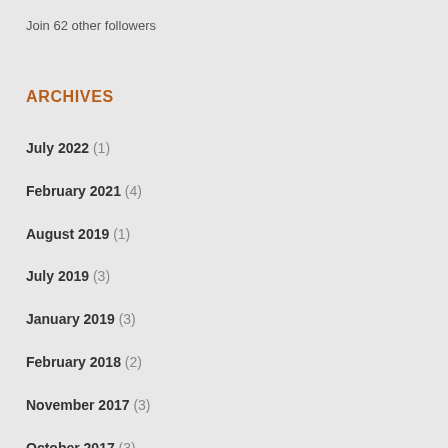Join 62 other followers
ARCHIVES
July 2022 (1)
February 2021 (4)
August 2019 (1)
July 2019 (3)
January 2019 (3)
February 2018 (2)
November 2017 (3)
October 2017 (3)